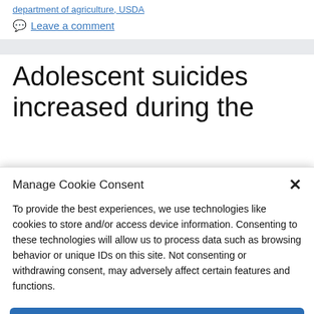department of agriculture, USDA
Leave a comment
Adolescent suicides increased during the
Manage Cookie Consent
To provide the best experiences, we use technologies like cookies to store and/or access device information. Consenting to these technologies will allow us to process data such as browsing behavior or unique IDs on this site. Not consenting or withdrawing consent, may adversely affect certain features and functions.
Accept